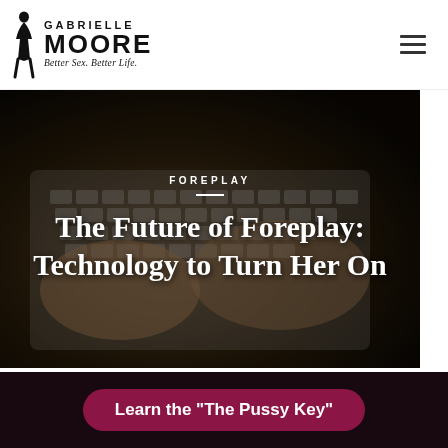[Figure (logo): Gabrielle Moore logo with silhouette figure and tagline 'Better Sex. Better Life.']
[Figure (photo): Dark-toned photo of woman's hands typing on a white laptop keyboard, with lace visible on wrist]
FOREPLAY
The Future of Foreplay: Technology to Turn Her On
[Figure (infographic): Dark banner with pink rounded button reading 'Learn the "The Pussy Key"']